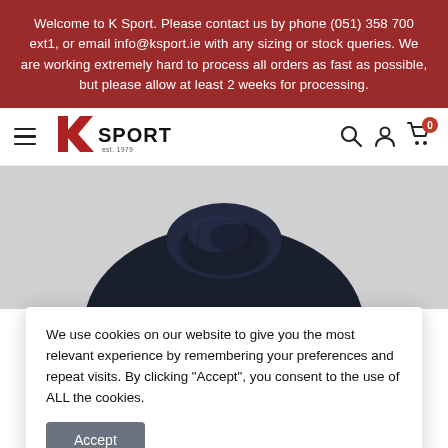Welcome to K Sport. Please contact us by phone (051) 358 700 ext1, or email info@ksport.ie with any sizing or stock queries. We are working extremely hard to process all orders as fast as possible, but please allow at least 2 weeks for processing.
[Figure (logo): K Sport logo with hamburger menu, search, account, and cart icons in navigation bar]
[Figure (photo): Dark navy/black sports jacket collar and upper body, partially visible]
We use cookies on our website to give you the most relevant experience by remembering your preferences and repeat visits. By clicking "Accept", you consent to the use of ALL the cookies.
Accept